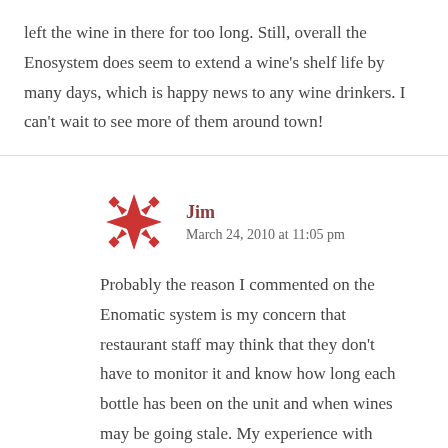left the wine in there for too long. Still, overall the Enosystem does seem to extend a wine's shelf life by many days, which is happy news to any wine drinkers. I can't wait to see more of them around town!
Jim
March 24, 2010 at 11:05 pm
Probably the reason I commented on the Enomatic system is my concern that restaurant staff may think that they don't have to monitor it and know how long each bottle has been on the unit and when wines may be going stale. My experience with them